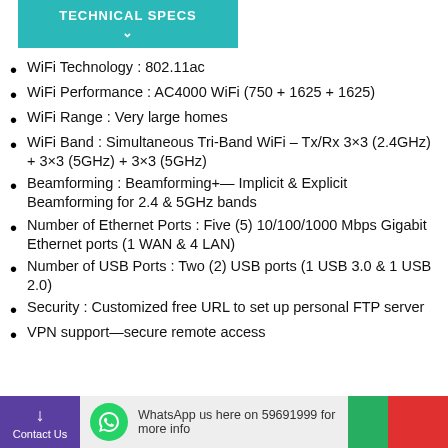TECHNICAL SPECS
WiFi Technology : 802.11ac
WiFi Performance : AC4000 WiFi (750 + 1625 + 1625)
WiFi Range : Very large homes
WiFi Band : Simultaneous Tri-Band WiFi – Tx/Rx 3×3 (2.4GHz) + 3×3 (5GHz) + 3×3 (5GHz)
Beamforming : Beamforming+— Implicit & Explicit Beamforming for 2.4 & 5GHz bands
Number of Ethernet Ports : Five (5) 10/100/1000 Mbps Gigabit Ethernet ports (1 WAN & 4 LAN)
Number of USB Ports : Two (2) USB ports (1 USB 3.0 & 1 USB 2.0)
Security : Customized free URL to set up personal FTP server
VPN support—secure remote access
WhatsApp us here on 59691999 for more info | Contact Us